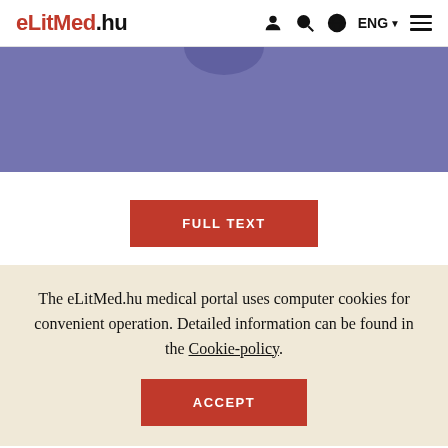eLitMed.hu  ENG
[Figure (illustration): Purple/violet banner image area with a darker circular shape visible at the top center, representing a medical portal header image.]
FULL TEXT
The eLitMed.hu medical portal uses computer cookies for convenient operation. Detailed information can be found in the Cookie-policy.
ACCEPT